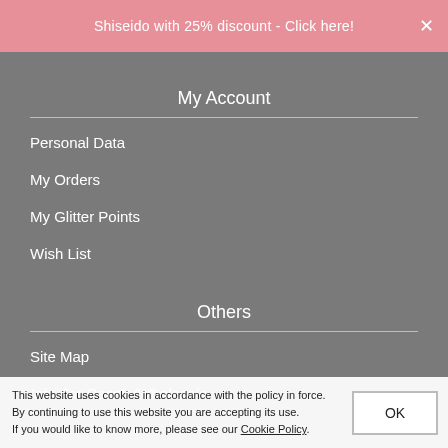Shiseido with 25% discount - Click here!
My Account
Personal Data
My Orders
My Glitter Points
Wish List
Others
Site Map
Info For Resale/Wholesale
This website uses cookies in accordance with the policy in force. By continuing to use this website you are accepting its use. If you would like to know more, please see our Cookie Policy.